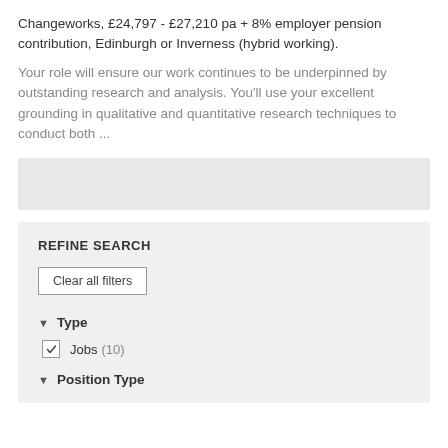Changeworks, £24,797 - £27,210 pa + 8% employer pension contribution, Edinburgh or Inverness (hybrid working).
Your role will ensure our work continues to be underpinned by outstanding research and analysis. You'll use your excellent grounding in qualitative and quantitative research techniques to conduct both ...
REFINE SEARCH
Clear all filters
Type
Jobs (10)
Position Type